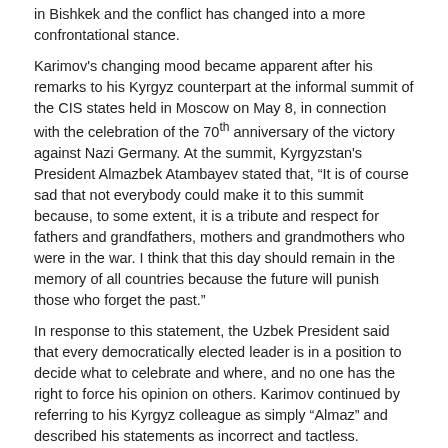in Bishkek and the conflict has changed into a more confrontational stance.
Karimov's changing mood became apparent after his remarks to his Kyrgyz counterpart at the informal summit of the CIS states held in Moscow on May 8, in connection with the celebration of the 70th anniversary of the victory against Nazi Germany. At the summit, Kyrgyzstan's President Almazbek Atambayev stated that, “It is of course sad that not everybody could make it to this summit because, to some extent, it is a tribute and respect for fathers and grandfathers, mothers and grandmothers who were in the war. I think that this day should remain in the memory of all countries because the future will punish those who forget the past.”
In response to this statement, the Uzbek President said that every democratically elected leader is in a position to decide what to celebrate and where, and no one has the right to force his opinion on others. Karimov continued by referring to his Kyrgyz colleague as simply “Almaz” and described his statements as incorrect and tactless. Atambayev interfered, stating that he was simply expressing his opinion, but Karimov ironically interrupted him by saying, “We all know your opinion already.”
Nevertheless, during his bilateral talks with the United Nations’ Secretary General Ban Ki-moon, Karimov described the June 2010 events in southern Kyrgyzstan as a full-scale war. “Power holders in Kyrgyzstan did not draw any conclusions. The causes of the conflict need to be investigated at an international level,” Karimov noted, despite the fact that the inter-ethnic clashes were investigated by a national as well as an international commission led by the Organization for Security and Cooperation in Europe. This is in contrast to the Andijan massacre of 2005, which